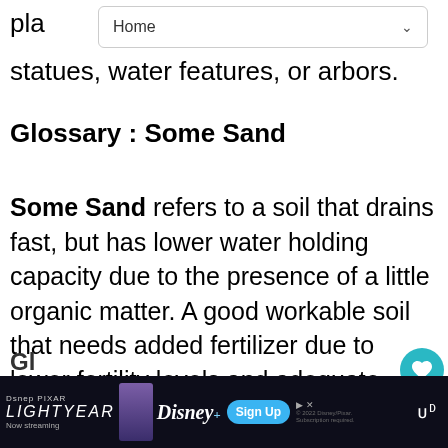pla
[Figure (screenshot): Navigation bar dropdown showing 'Home' label with a chevron/dropdown arrow]
statues, water features, or arbors.
Glossary : Some Sand
Some Sand refers to a soil that drains fast, but has lower water holding capacity due to the presence of a little organic matter. A good workable soil that needs added fertilizer due to lower fertility levels and adequate water. Usually gray in color. Forms a loose, crumb ball that easily falls apart when squeezed in the hand.
[Figure (screenshot): UI overlay showing heart/like button with count 1, share button, and 'WHAT'S NEXT' panel showing Abutilon megapotamic...]
Gl
[Figure (screenshot): Disney Pixar Lightyear advertisement banner with Sign Up button and Disney+ branding]